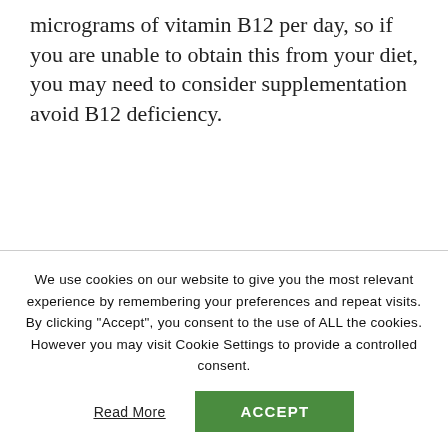micrograms of vitamin B12 per day, so if you are unable to obtain this from your diet, you may need to consider supplementation avoid B12 deficiency.
We use cookies on our website to give you the most relevant experience by remembering your preferences and repeat visits. By clicking "Accept", you consent to the use of ALL the cookies. However you may visit Cookie Settings to provide a controlled consent.
Read More
ACCEPT